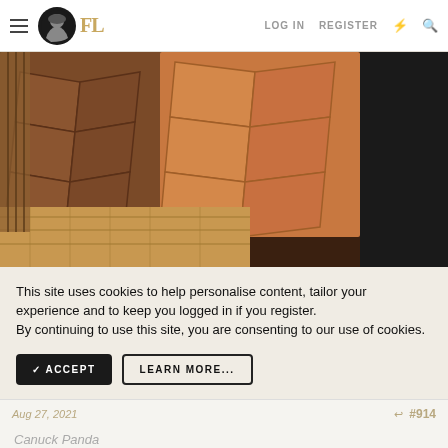FL | LOG IN | REGISTER
[Figure (photo): Close-up photo of brown quilted leather jackets hanging, with wooden parquet floor visible below]
This site uses cookies to help personalise content, tailor your experience and to keep you logged in if you register. By continuing to use this site, you are consenting to our use of cookies.
✓ ACCEPT   LEARN MORE...
Aug 27, 2021   #914
Canuck Panda